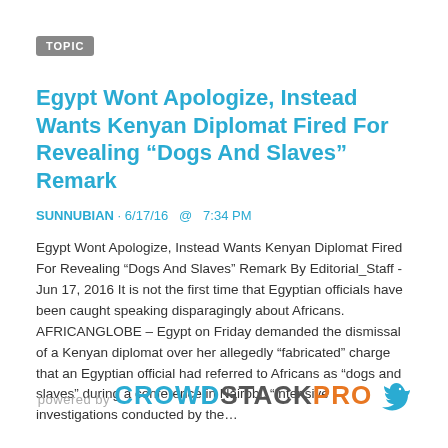TOPIC
Egypt Wont Apologize, Instead Wants Kenyan Diplomat Fired For Revealing “Dogs And Slaves” Remark
SUNNUBIAN · 6/17/16  @  7:34 PM
Egypt Wont Apologize, Instead Wants Kenyan Diplomat Fired For Revealing “Dogs And Slaves” Remark By Editorial_Staff - Jun 17, 2016 It is not the first time that Egyptian officials have been caught speaking disparagingly about Africans. AFRICANGLOBE – Egypt on Friday demanded the dismissal of a Kenyan diplomat over her allegedly “fabricated” charge that an Egyptian official had referred to Africans as “dogs and slaves” during a conference in Nairobi. “Intensive investigations conducted by the…
[Figure (logo): powered by CROWDSTACKPRO with a bird icon]